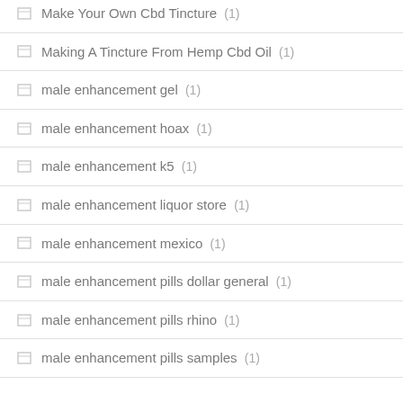Make Your Own Cbd Tincture (1)
Making A Tincture From Hemp Cbd Oil (1)
male enhancement gel (1)
male enhancement hoax (1)
male enhancement k5 (1)
male enhancement liquor store (1)
male enhancement mexico (1)
male enhancement pills dollar general (1)
male enhancement pills rhino (1)
male enhancement pills samples (1)